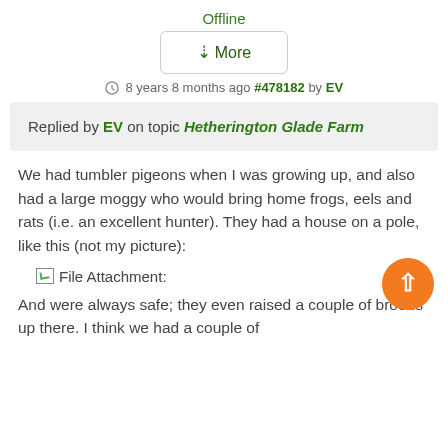Offline
↓More
8 years 8 months ago #478182 by EV
Replied by EV on topic Hetherington Glade Farm
We had tumbler pigeons when I was growing up, and also had a large moggy who would bring home frogs, eels and rats (i.e. an excellent hunter). They had a house on a pole, like this (not my picture):
[Figure (other): Broken image placeholder labeled 'File Attachment:' with an orange scroll-to-top button]
And were always safe; they even raised a couple of broods up there. I think we had a couple of